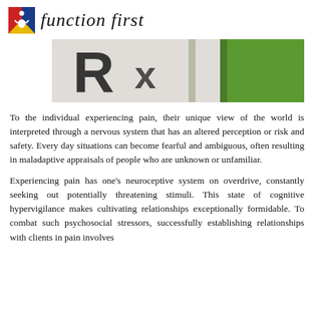[Figure (logo): Function First logo with red/blue/yellow icon and italic text 'function first']
[Figure (photo): Close-up photo of a prescription pill bottle label with a large 'Rx' symbol, green bottle in background]
To the individual experiencing pain, their unique view of the world is interpreted through a nervous system that has an altered perception or risk and safety. Every day situations can become fearful and ambiguous, often resulting in maladaptive appraisals of people who are unknown or unfamiliar.
Experiencing pain has one's neuroceptive system on overdrive, constantly seeking out potentially threatening stimuli. This state of cognitive hypervigilance makes cultivating relationships exceptionally formidable. To combat such psychosocial stressors, successfully establishing relationships with clients in pain involves